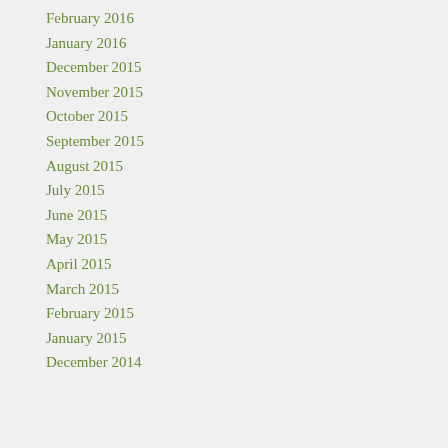February 2016
January 2016
December 2015
November 2015
October 2015
September 2015
August 2015
July 2015
June 2015
May 2015
April 2015
March 2015
February 2015
January 2015
December 2014